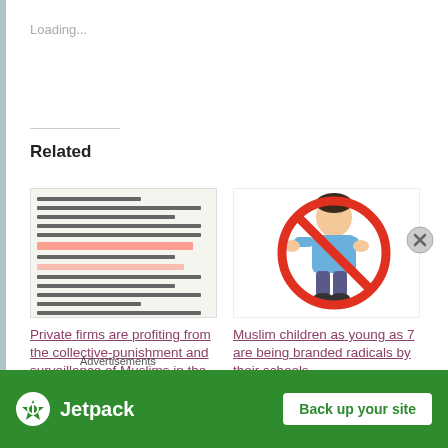Loading...
Related
[Figure (screenshot): Thumbnail of a document page with red-highlighted text lines]
Private firms are profiting from the collective-punishment and surveillance of Muslims in the UK
June 15, 2015
[Figure (illustration): Illustration of a child with a red prohibition circle crossed over them]
Muslim children as young as 7 are being branded radicals by their schools
May 26, 2015
In "Education"
Advertisements
[Figure (screenshot): Jetpack advertisement banner - Back up your site]